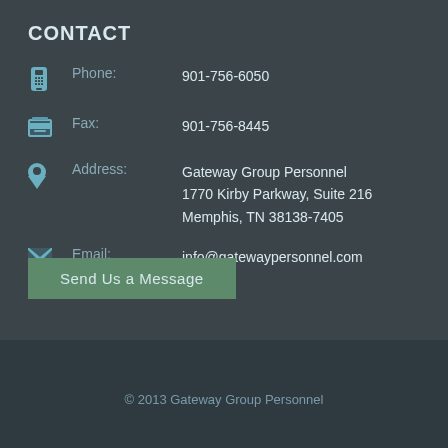CONTACT
Phone: 901-756-6050
Fax: 901-756-8445
Address: Gateway Group Personnel 1770 Kirby Parkway, Suite 216 Memphis, TN 38138-7405
Email: info@gatewaypersonnel.com
Send Us a Message
© 2013 Gateway Group Personnel